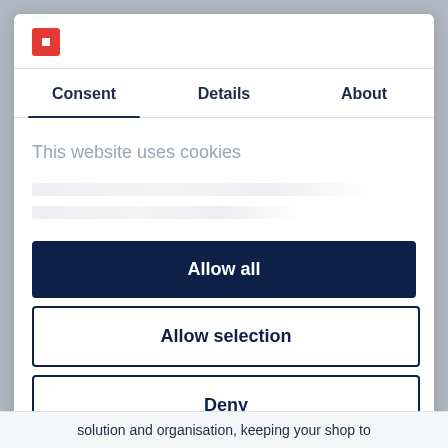[Figure (logo): Red square logo with white square cutout in center]
Consent
Details
About
This website uses cookies
Allow all
Allow selection
Deny
Powered by Cookiebot by Usercentrics
solution and organisation, keeping your shop to